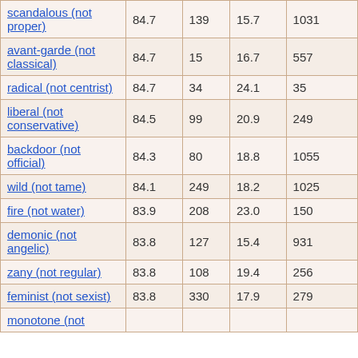| scandalous (not proper) | 84.7 | 139 | 15.7 | 1031 |
| avant-garde (not classical) | 84.7 | 15 | 16.7 | 557 |
| radical (not centrist) | 84.7 | 34 | 24.1 | 35 |
| liberal (not conservative) | 84.5 | 99 | 20.9 | 249 |
| backdoor (not official) | 84.3 | 80 | 18.8 | 1055 |
| wild (not tame) | 84.1 | 249 | 18.2 | 1025 |
| fire (not water) | 83.9 | 208 | 23.0 | 150 |
| demonic (not angelic) | 83.8 | 127 | 15.4 | 931 |
| zany (not regular) | 83.8 | 108 | 19.4 | 256 |
| feminist (not sexist) | 83.8 | 330 | 17.9 | 279 |
| monotone (not ... |  |  |  |  |